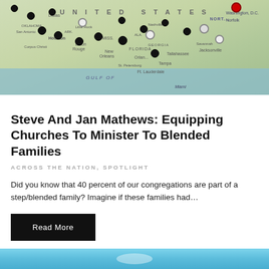[Figure (map): A map of the United States with multiple black, white, and one red map pins marking various locations across the country, particularly concentrated in the southern and eastern regions.]
Steve And Jan Mathews: Equipping Churches To Minister To Blended Families
ACROSS THE NATION, SPOTLIGHT
Did you know that 40 percent of our congregations are part of a step/blended family? Imagine if these families had...
Read More
[Figure (photo): Bottom portion of a sky/outdoor photo with blue sky visible, partially cut off at page bottom.]